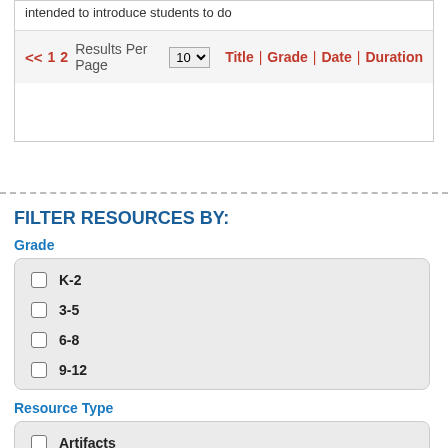intended to introduce students to do
<< 1 2 Results Per Page 10 Title | Grade | Date | Duration
FILTER RESOURCES BY:
Grade
K-2
3-5
6-8
9-12
Resource Type
Artifacts
Reviewed Websites
Reference Materials